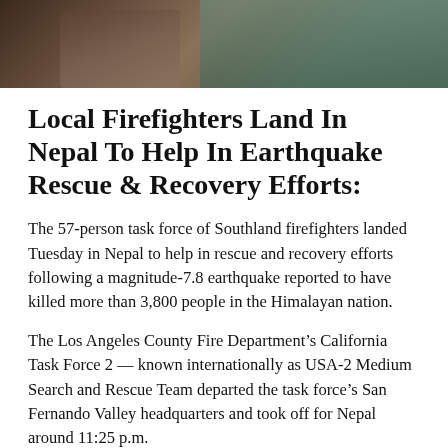[Figure (photo): Partial photo showing a person in outdoor/disaster scene setting, cropped at top of page]
Local Firefighters Land In Nepal To Help In Earthquake Rescue & Recovery Efforts:
The 57-person task force of Southland firefighters landed Tuesday in Nepal to help in rescue and recovery efforts following a magnitude-7.8 earthquake reported to have killed more than 3,800 people in the Himalayan nation.
The Los Angeles County Fire Department’s California Task Force 2 — known internationally as USA-2 Medium Search and Rescue Team departed the task force’s San Fernando Valley headquarters and took off for Nepal around 11:25 p.m.
Sunday aboard a C-17 transport plane from March Air Reserve Base in Riverside County, said Los Angeles